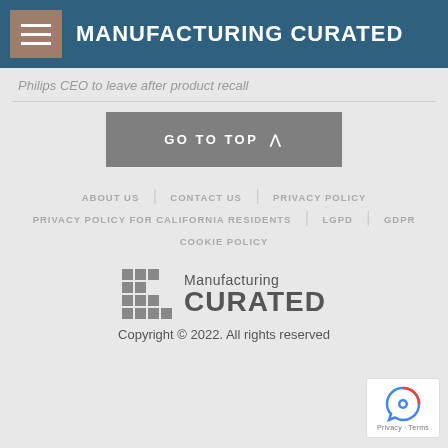MANUFACTURING CURATED
Philips CEO to leave after product recall
GO TO TOP
ABOUT US   CONTACT US   PRIVACY POLICY   PRIVACY POLICY FOR CALIFORNIA RESIDENTS   LGPD   GDPR   COOKIE POLICY
[Figure (logo): Manufacturing Curated logo with grid icon]
Copyright © 2022. All rights reserved